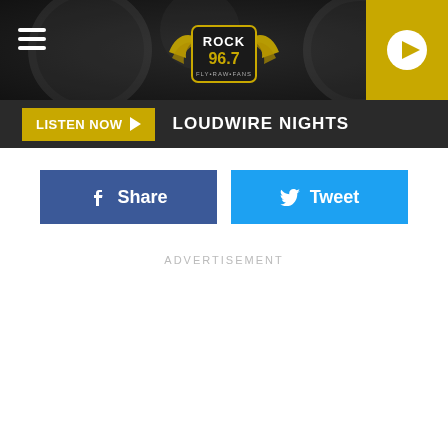[Figure (screenshot): Rock 96.7 radio station website header with dark background, hamburger menu, logo, and gold play button]
LISTEN NOW ▶  LOUDWIRE NIGHTS
Share
Tweet
ADVERTISEMENT